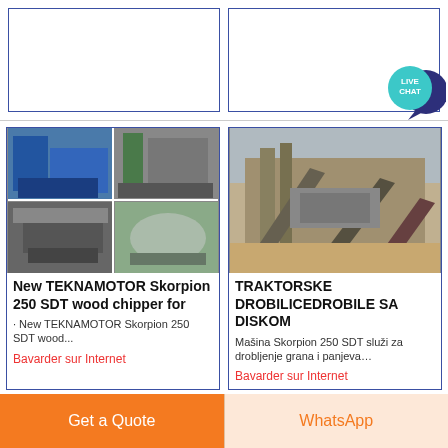[Figure (screenshot): Top left placeholder product card with blue border]
[Figure (screenshot): Top right placeholder product card with blue border]
[Figure (photo): New TEKNAMOTOR Skorpion 250 SDT wood chipper machinery — 4-panel collage of industrial machines]
New TEKNAMOTOR Skorpion 250 SDT wood chipper for
· New TEKNAMOTOR Skorpion 250 SDT wood...
Bavarder sur Internet
[Figure (photo): TRAKTORSKE DROBILICEDROBIL... SA DISKOM — crusher/screening machinery on construction site]
TRAKTORSKE DROBILICEDROBIL... SA DISKOM
Mašina Skorpion 250 SDT služi za drobljenje grana i panjeva…
Bavarder sur Internet
Get a Quote
WhatsApp